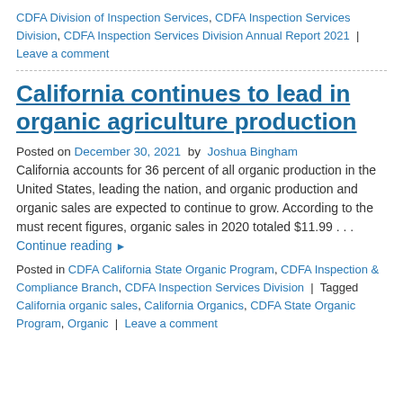CDFA Division of Inspection Services, CDFA Inspection Services Division, CDFA Inspection Services Division Annual Report 2021 | Leave a comment
California continues to lead in organic agriculture production
Posted on December 30, 2021 by Joshua Bingham
California accounts for 36 percent of all organic production in the United States, leading the nation, and organic production and organic sales are expected to continue to grow. According to the must recent figures, organic sales in 2020 totaled $11.99 . . . Continue reading ▶
Posted in CDFA California State Organic Program, CDFA Inspection & Compliance Branch, CDFA Inspection Services Division | Tagged California organic sales, California Organics, CDFA State Organic Program, Organic | Leave a comment